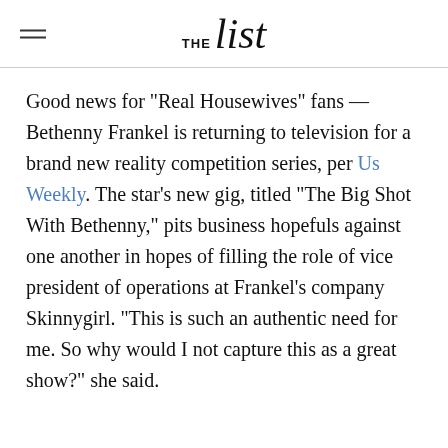THE list
Good news for "Real Housewives" fans — Bethenny Frankel is returning to television for a brand new reality competition series, per Us Weekly. The star's new gig, titled "The Big Shot With Bethenny," pits business hopefuls against one another in hopes of filling the role of vice president of operations at Frankel's company Skinnygirl. "This is such an authentic need for me. So why would I not capture this as a great show?" she said.